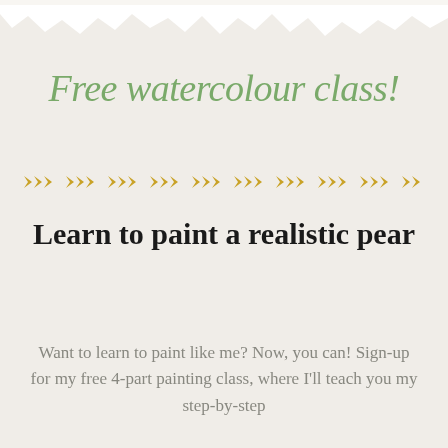[Figure (illustration): Torn paper top edge decorative element, white on grey textured background]
Free watercolour class!
[Figure (illustration): Decorative golden/yellow leaf chevron pattern divider line]
Learn to paint a realistic pear
Want to learn to paint like me? Now, you can! Sign-up for my free 4-part painting class, where I'll teach you my step-by-step